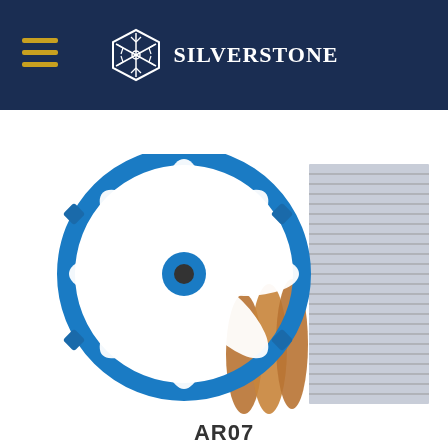SilverStone
Home / Coolers
[Figure (photo): SilverStone AR07 CPU cooler with blue fan frame, white fan blades, copper heatpipes, and aluminum fins heatsink]
AR07
[Figure (photo): SilverStone CPU cooler with blue fan frame, white fan blades, and tall aluminum fins heatsink with copper heatpipes]